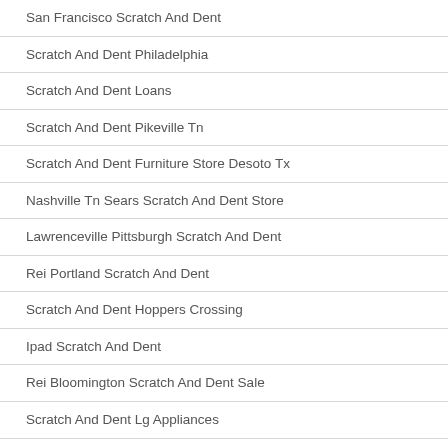San Francisco Scratch And Dent
Scratch And Dent Philadelphia
Scratch And Dent Loans
Scratch And Dent Pikeville Tn
Scratch And Dent Furniture Store Desoto Tx
Nashville Tn Sears Scratch And Dent Store
Lawrenceville Pittsburgh Scratch And Dent
Rei Portland Scratch And Dent
Scratch And Dent Hoppers Crossing
Ipad Scratch And Dent
Rei Bloomington Scratch And Dent Sale
Scratch And Dent Lg Appliances
Appliance Scratch And Dent Richmond Va
Pcrichards Scratch And Dent